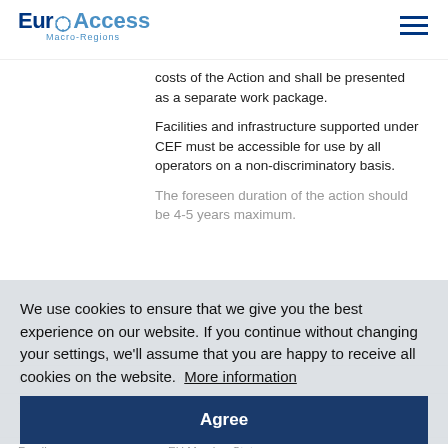EuroAccess Macro-Regions
costs of the Action and shall be presented as a separate work package.
Facilities and infrastructure supported under CEF must be accessible for use by all operators on a non-discriminatory basis.
The foreseen duration of the action should be 4-5 years maximum.
We use cookies to ensure that we give you the best experience on our website. If you continue without changing your settings, we'll assume that you are happy to receive all cookies on the website. More information
| Links | Links to Cell |
| --- | --- |
| Thematic Focus | Mobility & Transport, Trains, Disaster Prevention, Resiliance, Risk Management |
| Funding area | EU Member States Overseas Countries and Territories |